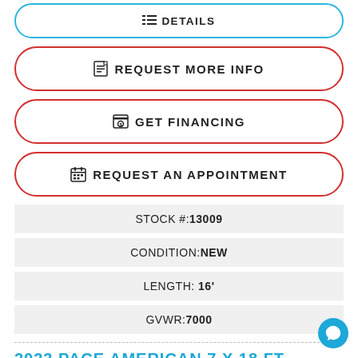DETAILS (partial button, top)
REQUEST MORE INFO
GET FINANCING
REQUEST AN APPOINTMENT
| STOCK #: | 13009 |
| CONDITION: | NEW |
| LENGTH: | 16' |
| GVWR: | 7000 |
2023 PACE AMERICAN 7 X 18 FT JOURNEY SE ENCLOSED CARGO RAMP DOOR 7 FT INTERIOR